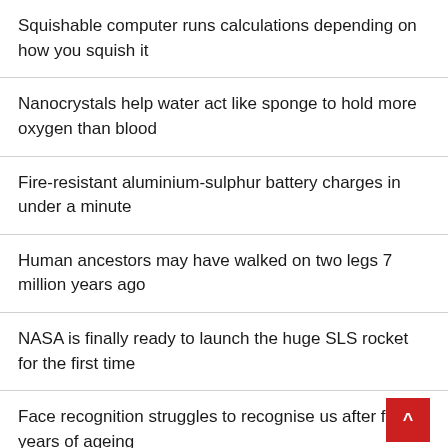Squishable computer runs calculations depending on how you squish it
Nanocrystals help water act like sponge to hold more oxygen than blood
Fire-resistant aluminium-sulphur battery charges in under a minute
Human ancestors may have walked on two legs 7 million years ago
NASA is finally ready to launch the huge SLS rocket for the first time
Face recognition struggles to recognise us after five years of ageing